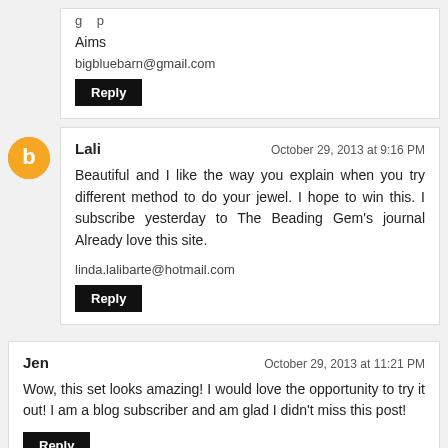Aims
bigbluebarn@gmail.com
Reply
Lali
October 29, 2013 at 9:16 PM
Beautiful and I like the way you explain when you try different method to do your jewel. I hope to win this. I subscribe yesterday to The Beading Gem's journal Already love this site.
linda.lalibarte@hotmail.com
Reply
Jen
October 29, 2013 at 11:21 PM
Wow, this set looks amazing! I would love the opportunity to try it out! I am a blog subscriber and am glad I didn't miss this post!
Reply